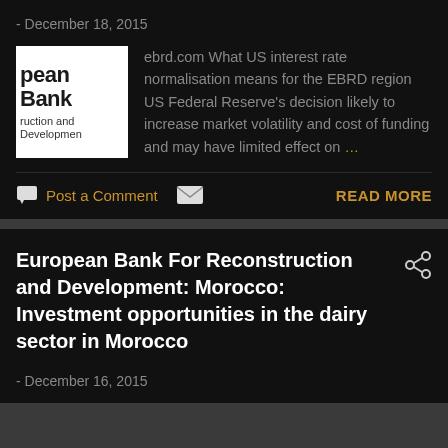- December 18, 2015
[Figure (logo): European Bank for Reconstruction and Development logo thumbnail, showing partial text 'pean Bank' and 'ruction and Developmen' in black on white background]
ebrd.com What US interest rate normalisation means for the EBRD region US Federal Reserve's decision likely to increase market volatility and cost of funding and may have limited effect on …
Post a Comment
READ MORE
European Bank For Reconstruction and Development: Morocco: Investment opportunities in the dairy sector in Morocco
- December 16, 2015